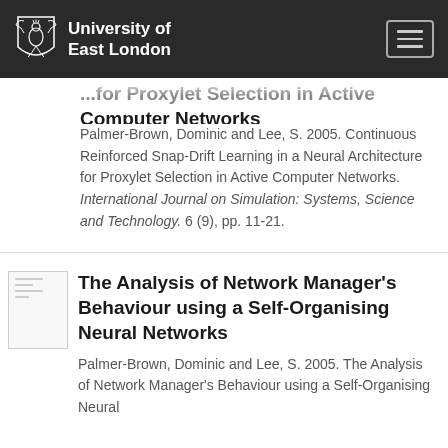University of East London
...for Proxylet Selection in Active Computer Networks
Palmer-Brown, Dominic and Lee, S. 2005. Continuous Reinforced Snap-Drift Learning in a Neural Architecture for Proxylet Selection in Active Computer Networks. International Journal on Simulation: Systems, Science and Technology. 6 (9), pp. 11-21.
[Figure (other): Thumbnail image of a document/paper]
The Analysis of Network Manager's Behaviour using a Self-Organising Neural Networks
Palmer-Brown, Dominic and Lee, S. 2005. The Analysis of Network Manager's Behaviour using a Self-Organising Neural